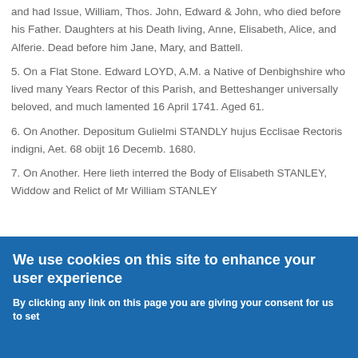and had Issue, William, Thos. John, Edward & John, who died before his Father. Daughters at his Death living, Anne, Elisabeth, Alice, and Alferie. Dead before him Jane, Mary, and Battell.
5. On a Flat Stone. Edward LOYD, A.M. a Native of Denbighshire who lived many Years Rector of this Parish, and Betteshanger universally beloved, and much lamented 16 April 1741. Aged 61.
6. On Another. Depositum Gulielmi STANDLY hujus Ecclisae Rectoris indigni, Aet. 68 obijt 16 Decemb. 1680.
7. On Another. Here lieth interred the Body of Elisabeth STANLEY, Widdow and Relict of Mr William STANLEY
We use cookies on this site to enhance your user experience
By clicking any link on this page you are giving your consent for us to set